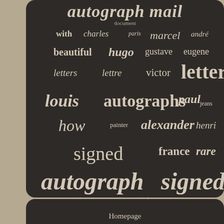[Figure (infographic): Word cloud on dark background featuring terms related to autographs and signed documents: autograph mail, document, with, charles, paris, marcel, andré, beautiful, hugo, gustave, eugene, letters, lettre, victor, letter, louis, autographs, paul, jeans, how, painter, alexander, henri, signed, france, rare, autograph signed, signature, jules, george]
Homepage
Contact Us
Privacy Policy